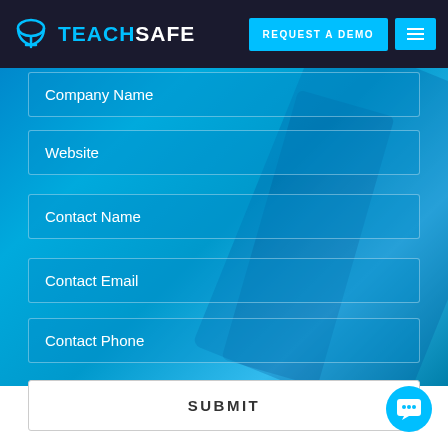[Figure (screenshot): TeachSafe website screenshot showing a navigation bar with logo, REQUEST A DEMO button, hamburger menu, and a form with input fields for Company Name, Website, Contact Name, Contact Email, Contact Phone, and a SUBMIT button on a blue gradient background.]
Company Name
Website
Contact Name
Contact Email
Contact Phone
SUBMIT